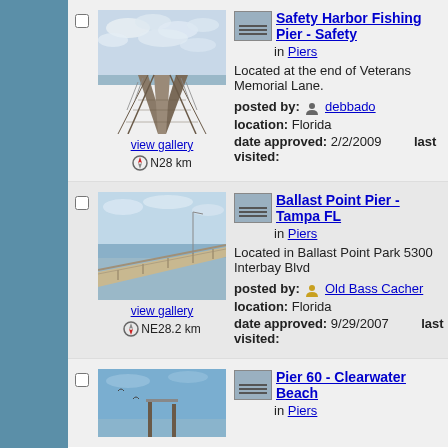[Figure (photo): Photo of Safety Harbor Fishing Pier wooden boardwalk extending into water under cloudy sky]
view gallery
N28 km
Safety Harbor Fishing Pier - Safety
in Piers
Located at the end of Veterans Memorial Lane.
posted by: debbado
location: Florida
date approved: 2/2/2009   last visited:
[Figure (photo): Photo of Ballast Point Pier extending over water on a clear day]
view gallery
NE28.2 km
Ballast Point Pier - Tampa FL
in Piers
Located in Ballast Point Park 5300 Interbay Blvd
posted by: Old Bass Cacher
location: Florida
date approved: 9/29/2007   last visited:
[Figure (photo): Photo of Pier 60 at Clearwater Beach]
Pier 60 - Clearwater Beach
in Piers